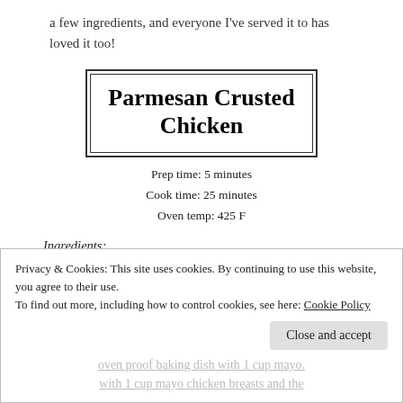a few ingredients, and everyone I've served it to has loved it too!
Parmesan Crusted Chicken
Prep time: 5 minutes
Cook time: 25 minutes
Oven temp: 425 F
Ingredients:
Boneless, skinless chicken breasts
1 cup mayo
Privacy & Cookies: This site uses cookies. By continuing to use this website, you agree to their use.
To find out more, including how to control cookies, see here: Cookie Policy
Close and accept